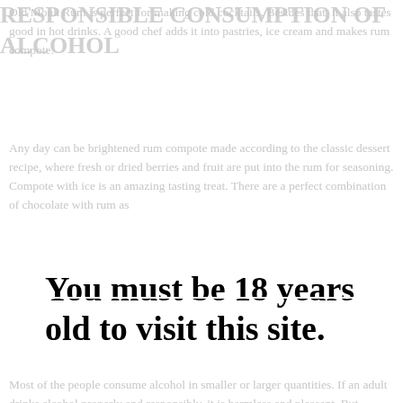Old Monk Rum is perfect for making cold cocktails. Besides that, it also tastes good in hot drinks. A good chef adds it into pastries, ice cream and makes rum compote.
Any day can be brightened rum compote made according to the classic dessert recipe, where fresh or dried berries and fruit are put into the rum for seasoning. Compote with ice is an amazing tasting treat. There are a perfect combination of chocolate with rum as
You must be 18 years old to visit this site.
Vanilla, cinnamon, cloves, orange, cardamom, star anise and ginger are the best companions for rum. Indeed, these make an amazing Christmas drink.
Palun kinnita oma vanus:
I am at least 18 years old
Enter Site »
RESPONSIBLE CONSUMPTION OF ALCOHOL
Most of the people consume alcohol in smaller or larger quantities. If an adult drinks alcohol properly and responsibly, it is harmless and pleasant. But harmful